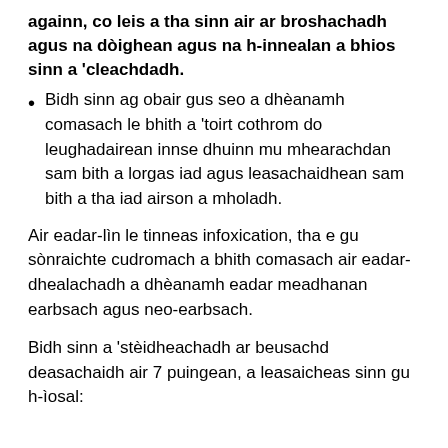againn, co leis a tha sinn air ar broshachadh agus na dòighean agus na h-innealan a bhios sinn a 'cleachdadh.
Bidh sinn ag obair gus seo a dhèanamh comasach le bhith a 'toirt cothrom do leughadairean innse dhuinn mu mhearachdan sam bith a lorgas iad agus leasachaidhean sam bith a tha iad airson a mholadh.
Air eadar-lìn le tinneas infoxication, tha e gu sònraichte cudromach a bhith comasach air eadar-dhealachadh a dhèanamh eadar meadhanan earbsach agus neo-earbsach.
Bidh sinn a 'stèidheachadh ar beusachd deasachaidh air 7 puingean, a leasaicheas sinn gu h-ìosal: